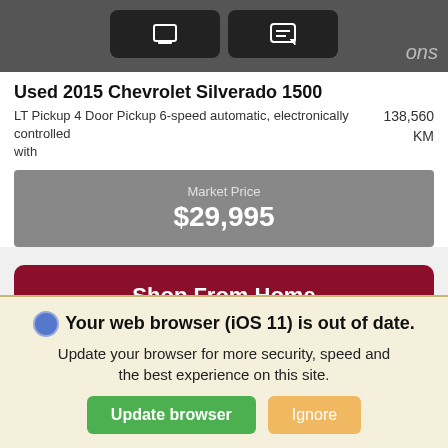[Figure (screenshot): Top dark navigation bar with two dark buttons (icons for view/text) and 'ons' text visible at right]
Used 2015 Chevrolet Silverado 1500
LT Pickup 4 Door Pickup 6-speed automatic, electronically controlled with	138,560 KM
Market Price
$29,995
Shop From Home
Get E-Price Now
*First Name	*Last Name
*Email
Your web browser (iOS 11) is out of date.
Update your browser for more security, speed and the best experience on this site.
Update browser	Ignore